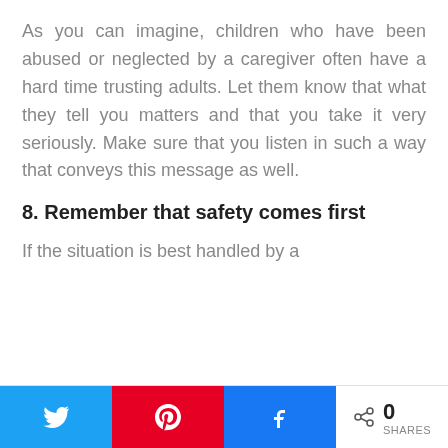As you can imagine, children who have been abused or neglected by a caregiver often have a hard time trusting adults. Let them know that what they tell you matters and that you take it very seriously. Make sure that you listen in such a way that conveys this message as well.
8. Remember that safety comes first
If the situation is best handled by a